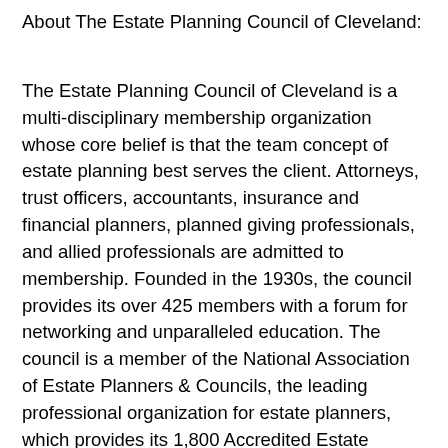About The Estate Planning Council of Cleveland:
The Estate Planning Council of Cleveland is a multi-disciplinary membership organization whose core belief is that the team concept of estate planning best serves the client. Attorneys, trust officers, accountants, insurance and financial planners, planned giving professionals, and allied professionals are admitted to membership. Founded in the 1930s, the council provides its over 425 members with a forum for networking and unparalleled education. The council is a member of the National Association of Estate Planners & Councils, the leading professional organization for estate planners, which provides its 1,800 Accredited Estate Planner(R)